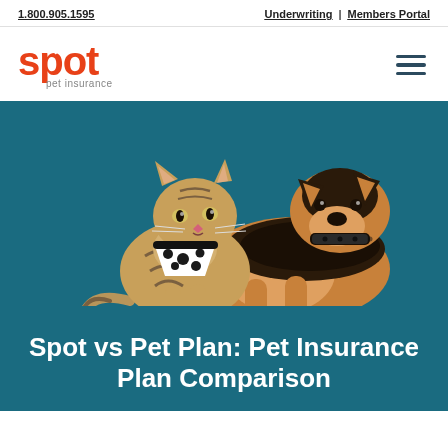1.800.905.1595   Underwriting | Members Portal
[Figure (logo): Spot Pet Insurance logo — red/orange text with a heart in the 'o']
[Figure (photo): A tabby kitten wearing a black and white polka-dot bandana/harness sits beside a German Shepherd puppy wearing a black patterned collar, both on a teal background]
Spot vs Pet Plan: Pet Insurance Plan Comparison